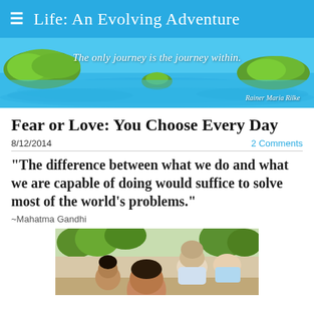Life: An Evolving Adventure
[Figure (photo): Tropical island aerial view with turquoise water and green islands, with quote overlay: 'The only journey is the journey within.' — Rainer Maria Rilke]
Fear or Love: You Choose Every Day
8/12/2014    2 Comments
"The difference between what we do and what we are capable of doing would suffice to solve most of the world's problems."
~Mahatma Gandhi
[Figure (photo): Group photo of people including children and adults outdoors]